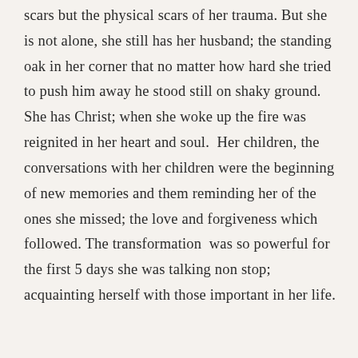scars but the physical scars of her trauma. But she is not alone, she still has her husband; the standing oak in her corner that no matter how hard she tried to push him away he stood still on shaky ground. She has Christ; when she woke up the fire was reignited in her heart and soul.  Her children, the conversations with her children were the beginning of new memories and them reminding her of the ones she missed; the love and forgiveness which followed. The transformation  was so powerful for the first 5 days she was talking non stop; acquainting herself with those important in her life.